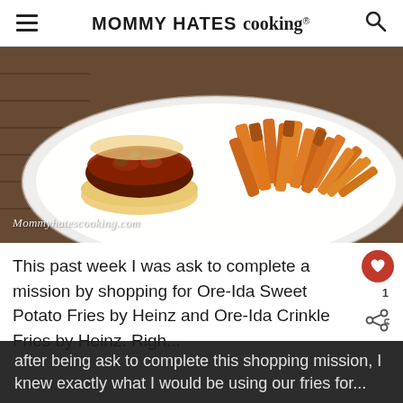MOMMY HATES cooking®
[Figure (photo): A white plate with a burger/sandwich topped with caramelized onions and meat sauce, served with sweet potato fries. Watermark reads Mommyhatescooking.com]
This past week I was ask to complete a mission by shopping for Ore-Ida Sweet Potato Fries by Heinz and Ore-Ida Crinkle Fries by Heinz.  Right after being ask to complete this shopping mission, I knew exactly what I would be using our fries for...